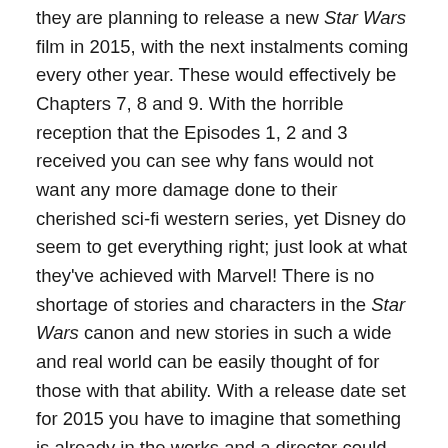they are planning to release a new Star Wars film in 2015, with the next instalments coming every other year. These would effectively be Chapters 7, 8 and 9. With the horrible reception that the Episodes 1, 2 and 3 received you can see why fans would not want any more damage done to their cherished sci-fi western series, yet Disney do seem to get everything right; just look at what they've achieved with Marvel! There is no shortage of stories and characters in the Star Wars canon and new stories in such a wide and real world can be easily thought of for those with that ability. With a release date set for 2015 you have to imagine that something is already in the works and a director could soon be announced with only three years to work on the project. It is unknown as of yet if any previously seen characters will return and in what form.
Another piece of information from this deal is the fact that